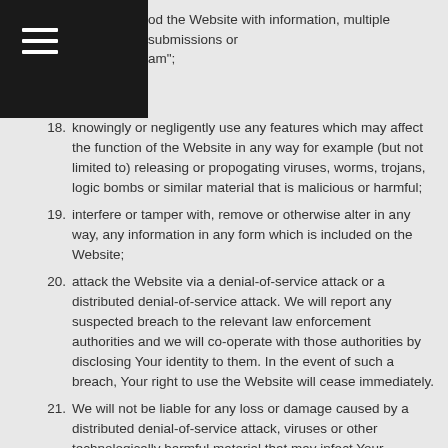od the Website with information, multiple submissions or am”;
18. knowingly or negligently use any features which may affect the function of the Website in any way for example (but not limited to) releasing or propogating viruses, worms, trojans, logic bombs or similar material that is malicious or harmful;
19. interfere or tamper with, remove or otherwise alter in any way, any information in any form which is included on the Website;
20. attack the Website via a denial-of-service attack or a distributed denial-of-service attack. We will report any suspected breach to the relevant law enforcement authorities and we will co-operate with those authorities by disclosing Your identity to them. In the event of such a breach, Your right to use the Website will cease immediately.
21. We will not be liable for any loss or damage caused by a distributed denial-of-service attack, viruses or other technologically harmful material that may infect Your computer equipment, computer programs, data or other proprietary material due to Your use of the Website or to Your downloading of content from our Website.